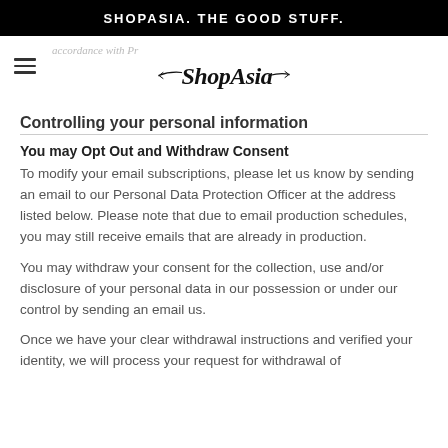SHOPASIA. THE GOOD STUFF.
[Figure (logo): ShopAsia cursive script logo with decorative arrows]
Controlling your personal information
You may Opt Out and Withdraw Consent
To modify your email subscriptions, please let us know by sending an email to our Personal Data Protection Officer at the address listed below. Please note that due to email production schedules, you may still receive emails that are already in production.
You may withdraw your consent for the collection, use and/or disclosure of your personal data in our possession or under our control by sending an email us.
Once we have your clear withdrawal instructions and verified your identity, we will process your request for withdrawal of